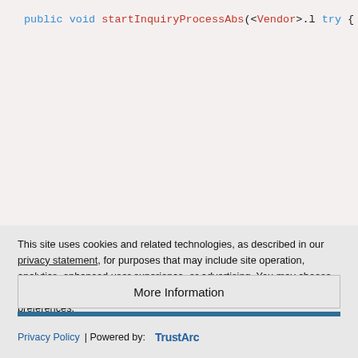[Figure (screenshot): Code snippet showing Java code with public void startInquiryProcessAbs method, try block, HashMap creation, multiple requestParams.put(StartInquiryProcess...) calls, and StartInquiryProcessProvider startInqu... line. Code has syntax highlighting with blue keywords and red method names/types.]
This site uses cookies and related technologies, as described in our privacy statement, for purposes that may include site operation, analytics, enhanced user experience, or advertising. You may choose to consent to our use of these technologies, or manage your own preferences.
More Information
Accept Cookies
Privacy Policy | Powered by: TrustArc